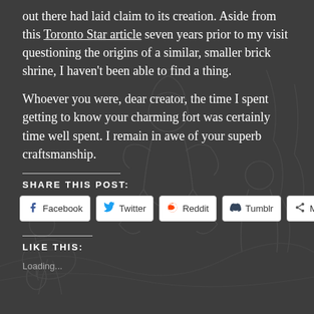[Figure (illustration): Dark grey background with a faint line-art illustration of medieval or fantasy figures on horseback, rendered in dark tones.]
out there had laid claim to its creation. Aside from this Toronto Star article seven years prior to my visit questioning the origins of a similar, smaller brick shrine, I haven't been able to find a thing.
Whoever you were, dear creator, the time I spent getting to know your charming fort was certainly time well spent. I remain in awe of your superb craftsmanship.
SHARE THIS POST:
Facebook
Twitter
Reddit
Tumblr
More
LIKE THIS:
Loading...